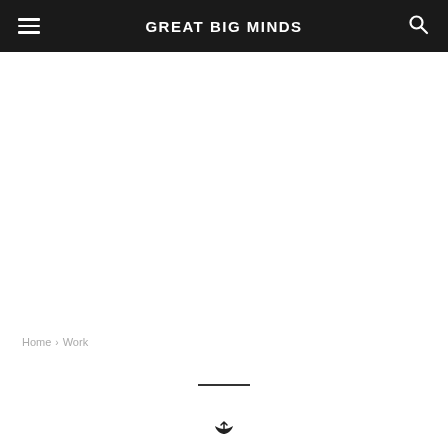GREAT BIG MINDS
Home › Work
[Figure (other): Horizontal decorative divider line]
[Figure (other): Small decorative arrow or icon at bottom center]